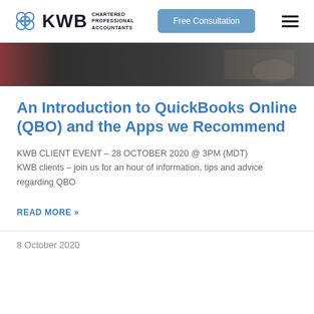[Figure (logo): KWB Chartered Professional Accountants logo with decorative icon]
Free Consultation
[Figure (photo): Dark header photo showing a hand writing or working at a desk]
An Introduction to QuickBooks Online (QBO) and the Apps we Recommend
KWB CLIENT EVENT – 28 OCTOBER 2020 @ 3PM (MDT) KWB clients – join us for an hour of information, tips and advice regarding QBO
READ MORE »
8 October 2020